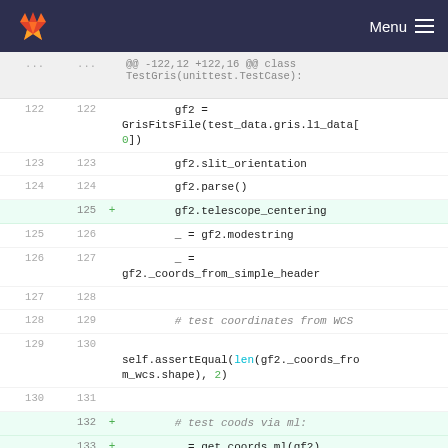[Figure (screenshot): GitLab navigation bar with logo and Menu button]
@@ -122,12 +122,16 @@ class TestGris(unittest.TestCase):
122  122      gf2 = GrisFitsFile(test_data.gris.l1_data[0])
123  123      gf2.slit_orientation
124  124      gf2.parse()
125  +    gf2.telescope_centering
125  126      _ = gf2.modestring
126  127      _ = gf2._coords_from_simple_header
127  128
128  129      # test coordinates from WCS
129  130      self.assertEqual(len(gf2._coords_from_wcs.shape), 2)
130  131
132  +    # test coods via ml:
133  +    _ = get_coords_ml(gf2)
134  +
131  135      # test_coordinates_from